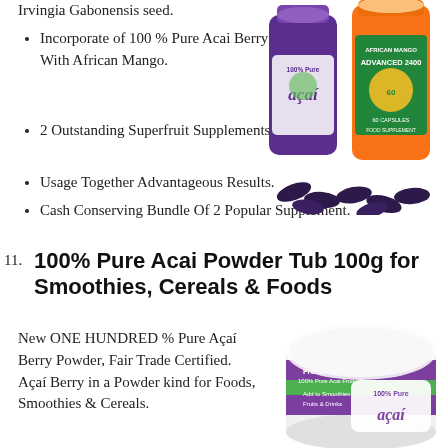Irvingia Gabonensis seed.
Incorporate of 100 % Pure Acai Berry With African Mango.
2 Outstanding Superfruit Supplements.
Usage Together Advantageous Results.
Cash Conserving Bundle Of 2 Popular Supplement.
[Figure (photo): Two supplement bottles - 100% Pure Acai and African Mango Advanced 2400 - with capsules scattered in front]
11. 100% Pure Acai Powder Tub 100g for Smoothies, Cereals & Foods
New ONE HUNDRED % Pure Açaí Berry Powder, Fair Trade Certified. Açaí Berry in a Powder kind for Foods, Smoothies & Cereals.
[Figure (photo): A tub of 100% Pure Acai freeze dried powder with a woman in background]